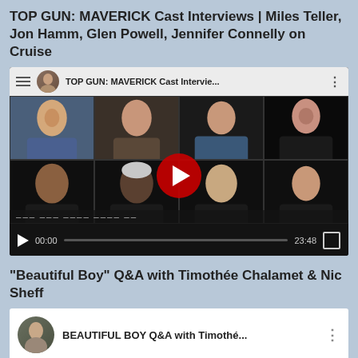TOP GUN: MAVERICK Cast Interviews | Miles Teller, Jon Hamm, Glen Powell, Jennifer Connelly on Cruise
[Figure (screenshot): YouTube video thumbnail showing cast of Top Gun: Maverick in a 2x4 grid with play button overlay and video controls showing 00:00 / 23:48]
“Beautiful Boy” Q&A with Timothée Chalamet & Nic Sheff
[Figure (screenshot): YouTube video thumbnail showing Beautiful Boy Q&A video with channel avatar and title overlay]